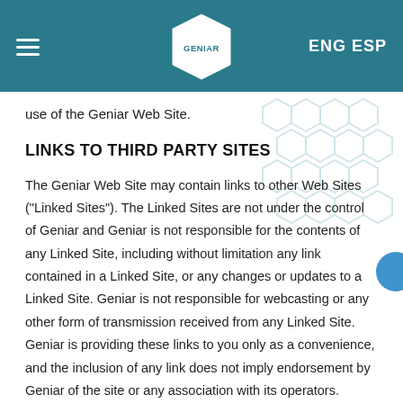GENIAR  ENG ESP
use of the Geniar Web Site.
LINKS TO THIRD PARTY SITES
The Geniar Web Site may contain links to other Web Sites ("Linked Sites"). The Linked Sites are not under the control of Geniar and Geniar is not responsible for the contents of any Linked Site, including without limitation any link contained in a Linked Site, or any changes or updates to a Linked Site. Geniar is not responsible for webcasting or any other form of transmission received from any Linked Site. Geniar is providing these links to you only as a convenience, and the inclusion of any link does not imply endorsement by Geniar of the site or any association with its operators.